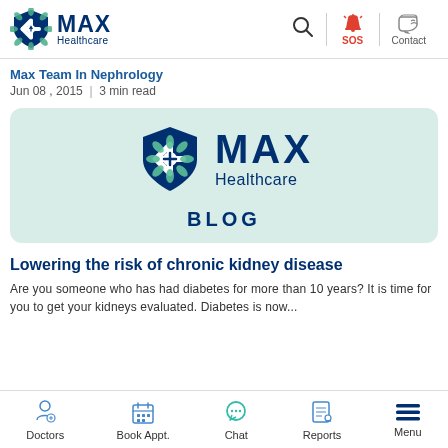MAX Healthcare — SOS — Contact
Max Team In Nephrology
Jun 08 , 2015  |  3 min read
[Figure (logo): MAX Healthcare Blog banner on light green background showing MAX Healthcare logo and the word BLOG]
Lowering the risk of chronic kidney disease
Are you someone who has had diabetes for more than 10 years? It is time for you to get your kidneys evaluated. Diabetes is now...
Doctors  Book Appt.  Chat  Reports  Menu